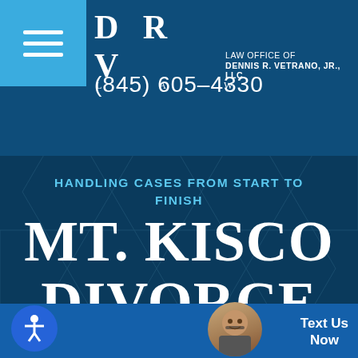[Figure (logo): DRV LAW logo with text 'LAW OFFICE OF DENNIS R. VETRANO, JR., LLC']
(845) 605-4330
HANDLING CASES FROM START TO FINISH
MT. KISCO DIVORCE ATTORNE
[Figure (photo): Chat avatar photo of a woman with glasses]
Text Us Now